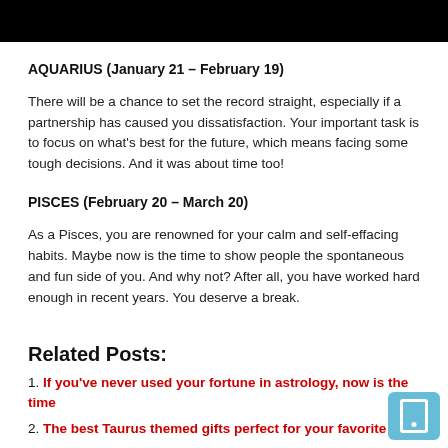[Figure (other): Black header bar image at top of page]
AQUARIUS (January 21 – February 19)
There will be a chance to set the record straight, especially if a partnership has caused you dissatisfaction. Your important task is to focus on what's best for the future, which means facing some tough decisions. And it was about time too!
PISCES (February 20 – March 20)
As a Pisces, you are renowned for your calm and self-effacing habits. Maybe now is the time to show people the spontaneous and fun side of you. And why not? After all, you have worked hard enough in recent years. You deserve a break.
Related Posts:
If you've never used your fortune in astrology, now is the time
The best Taurus themed gifts perfect for your favorite